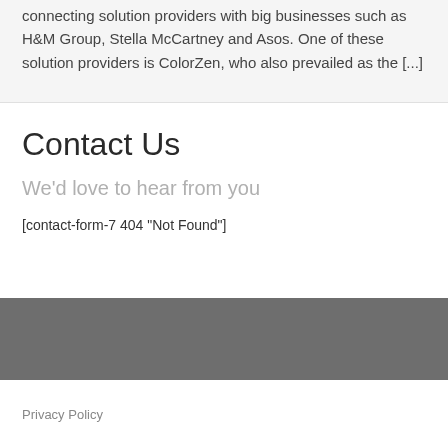connecting solution providers with big businesses such as H&M Group, Stella McCartney and Asos. One of these solution providers is ColorZen, who also prevailed as the [...]
Contact Us
We'd love to hear from you
[contact-form-7 404 "Not Found"]
Privacy Policy